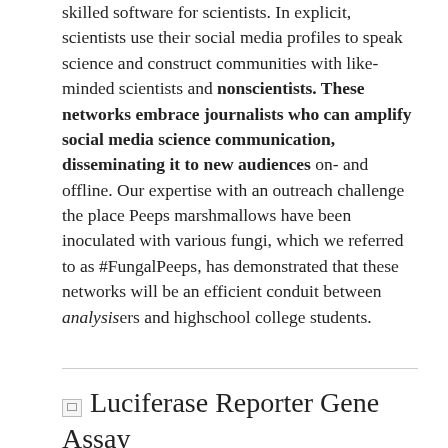skilled software for scientists. In explicit, scientists use their social media profiles to speak science and construct communities with like-minded scientists and nonscientists. These networks embrace journalists who can amplify social media science communication, disseminating it to new audiences on- and offline. Our expertise with an outreach challenge the place Peeps marshmallows have been inoculated with various fungi, which we referred to as #FungalPeeps, has demonstrated that these networks will be an efficient conduit between analysisers and highschool college students.
Luciferase Reporter Gene Assay